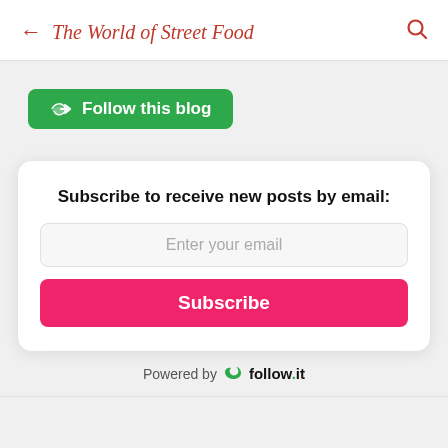← The World of Street Food 🔍
Follow this blog
Subscribe to receive new posts by email:
Enter your email
Subscribe
Powered by follow.it